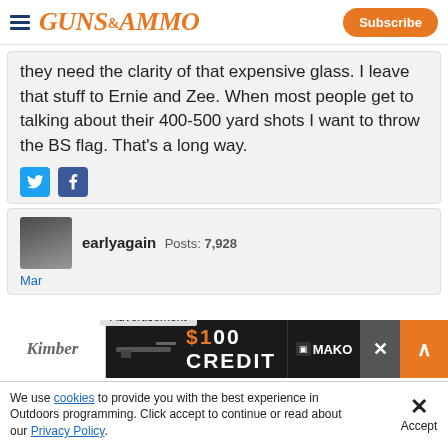Guns & Ammo | Subscribe
they need the clarity of that expensive glass. I leave that stuff to Ernie and Zee. When most people get to talking about their 400-500 yard shots I want to throw the BS flag. That's a long way.
[Figure (screenshot): Twitter and Facebook social share icons]
earlyagain Posts: 7,928
[Figure (screenshot): Advertisement banner: $100 CREDIT MAKO]
We use cookies to provide you with the best experience in Outdoors programming. Click accept to continue or read about our Privacy Policy.